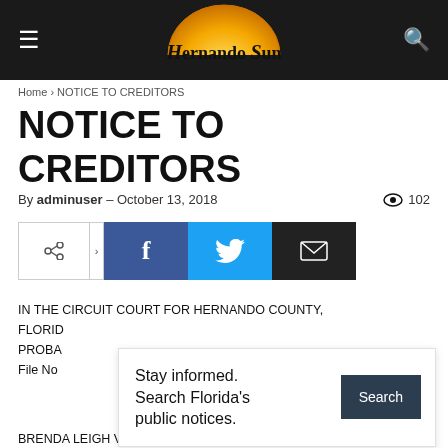Hernando Sun
Home › NOTICE TO CREDITORS
NOTICE TO CREDITORS
By adminuser - October 13, 2018  👁 102
[Figure (infographic): Social share buttons: share icon, Facebook, Twitter, email]
IN THE CIRCUIT COURT FOR HERNANDO COUNTY, FLORIDA
PROBATE
File No
[Figure (infographic): Overlay advertisement: Stay informed. Search Florida's public notices. [Search button]]
IN RE: E
BRENDA LEIGH VANDERBURG